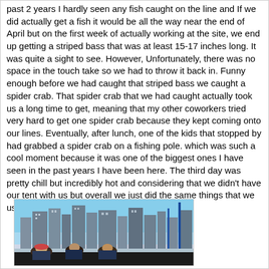past 2 years I hardly seen any fish caught on the line and If we did actually get a fish it would be all the way near the end of April but on the first week of actually working at the site, we end up getting a striped bass that was at least 15-17 inches long. It was quite a sight to see. However, Unfortunately, there was no space in the touch take so we had to throw it back in. Funny enough before we had caught that striped bass we caught a spider crab. That spider crab that we had caught actually took us a long time to get, meaning that my other coworkers tried very hard to get one spider crab because they kept coming onto our lines. Eventually, after lunch, one of the kids that stopped by had grabbed a spider crab on a fishing pole. which was such a cool moment because it was one of the biggest ones I have seen in the past years I have been here. The third day was pretty chill but incredibly hot and considering that we didn't have our tent with us but overall we just did the same things that we usually did.
[Figure (photo): A photo of people posing in front of a city skyline with tall buildings and blue sky in the background.]